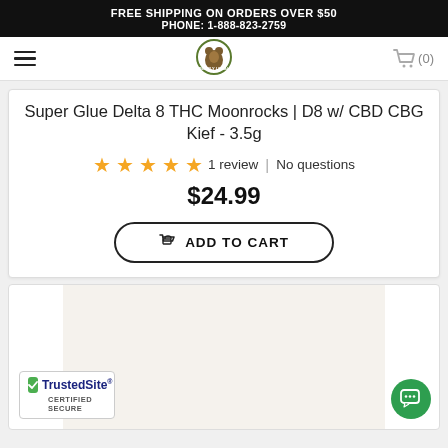FREE SHIPPING ON ORDERS OVER $50
PHONE: 1-888-823-2759
[Figure (logo): Bearly Legal Hemp Co. logo - circular badge with bear image]
Super Glue Delta 8 THC Moonrocks | D8 w/ CBD CBG Kief - 3.5g
★★★★★ 1 review | No questions
$24.99
ADD TO CART
[Figure (photo): Product image area - light cream/beige background showing partial product]
[Figure (logo): TrustedSite Certified Secure badge]